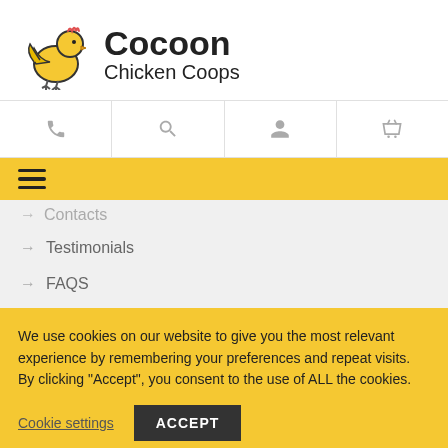[Figure (logo): Cocoon Chicken Coops logo with yellow cartoon chicken and handwritten-style text]
[Figure (infographic): Icon navigation bar with phone, search, user account, and shopping basket icons]
[Figure (infographic): Yellow hamburger menu bar]
Contacts (partially visible)
→ Testimonials
→ FAQS
We use cookies on our website to give you the most relevant experience by remembering your preferences and repeat visits. By clicking "Accept", you consent to the use of ALL the cookies.
Cookie settings
ACCEPT